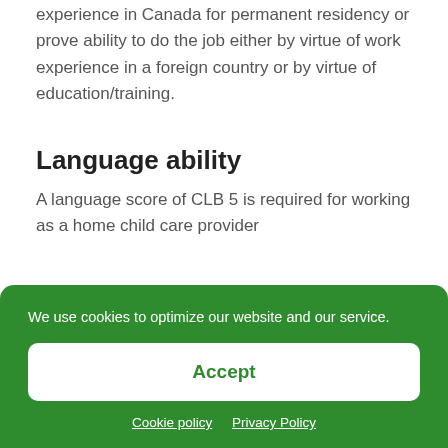experience in Canada for permanent residency or prove ability to do the job either by virtue of work experience in a foreign country or by virtue of education/training.
Language ability
A language score of CLB 5 is required for working as a home child care provider
We use cookies to optimize our website and our service.
Accept
Cookie policy   Privacy Policy